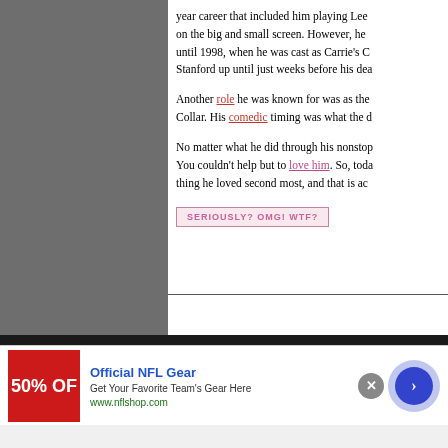year career that included him playing Lee on the big and small screen. However, he until 1998, when he was cast as Carrie's C Stanford up until just weeks before his dea
Another role he was known for was as the Collar. His comedic timing was what the d
No matter what he did through his nonstop You couldn't help but to love him. So, toda thing he loved second most, and that is ac
[Figure (screenshot): Button with pink border reading SERIOUSLY? OMG! WTF?]
[Figure (infographic): Advertisement for Official NFL Gear. Red banner with '50% OF' text, headline 'Official NFL Gear', tagline 'Get Your Favorite Team's Gear Here', URL www.nflshop.com, close button X, and blue arrow circle button.]